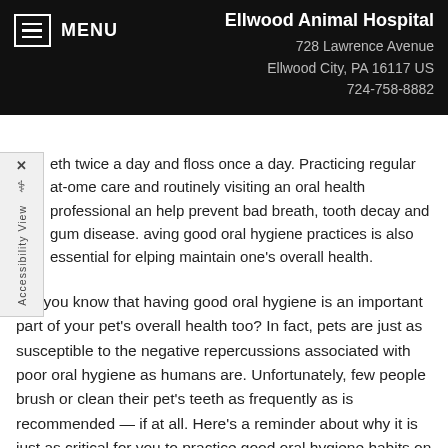MENU | Ellwood Animal Hospital
728 Lawrence Avenue
Ellwood City, PA 16117 US
724-758-8882
eth twice a day and floss once a day. Practicing regular at-home care and routinely visiting an oral health professional an help prevent bad breath, tooth decay and gum disease. aving good oral hygiene practices is also essential for elping maintain one's overall health.
Did you know that having good oral hygiene is an important part of your pet's overall health too? In fact, pets are just as susceptible to the negative repercussions associated with poor oral hygiene as humans are. Unfortunately, few people brush or clean their pet's teeth as frequently as is recommended — if at all. Here's a reminder about why it is just as critical for you to practice good oral hygiene habits on your pet as it is to practice them on yourself.